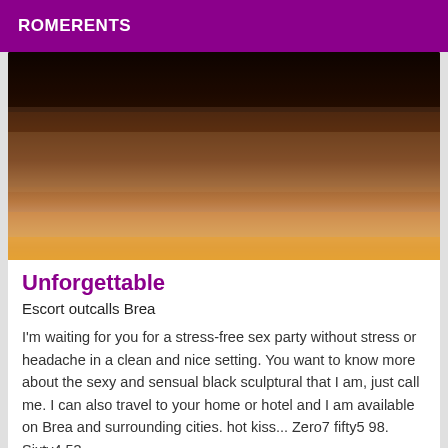ROMERENTS
[Figure (photo): Close-up photo showing what appears to be fur or hair texture with dark background fading to orange/warm tones at the bottom]
Unforgettable
Escort outcalls Brea
I'm waiting for you for a stress-free sex party without stress or headache in a clean and nice setting. You want to know more about the sexy and sensual black sculptural that I am, just call me. I can also travel to your home or hotel and I am available on Brea and surrounding cities. hot kiss... Zero7 fifty5 98. Sixty4 53